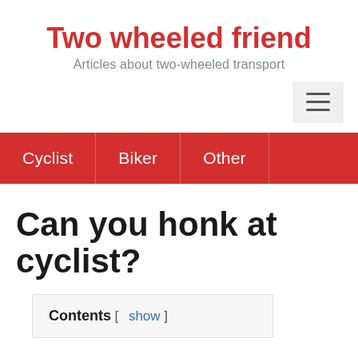Two wheeled friend
Articles about two-wheeled transport
[Figure (other): Hamburger menu button icon with three horizontal lines on a light gray background, positioned in the top-right area]
Cyclist   Biker   Other
Can you honk at cyclist?
Contents [ show ]